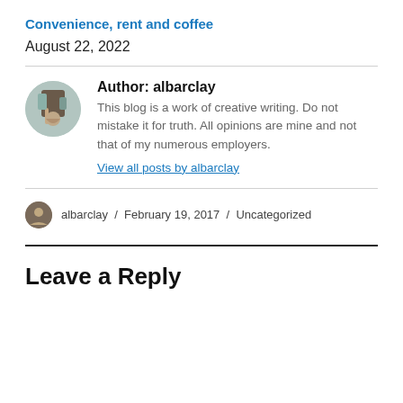Convenience, rent and coffee
August 22, 2022
Author: albarclay
This blog is a work of creative writing. Do not mistake it for truth. All opinions are mine and not that of my numerous employers.
View all posts by albarclay
albarclay / February 19, 2017 / Uncategorized
Leave a Reply